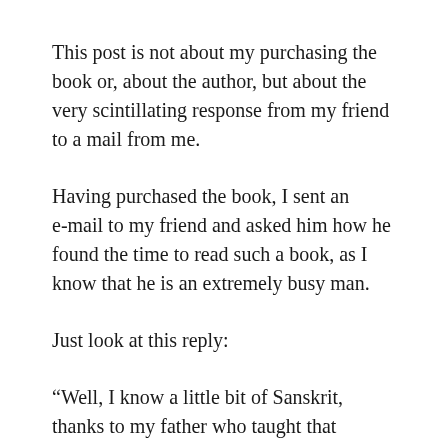This post is not about my purchasing the book or, about the author, but about the very scintillating response from my friend to a mail from me.
Having purchased the book, I sent an e-mail to my friend and asked him how he found the time to read such a book, as I know that he is an extremely busy man.
Just look at this reply:
“Well, I know a little bit of Sanskrit, thanks to my father who taught that language in the Punjab University in Pre-Partition days. I love